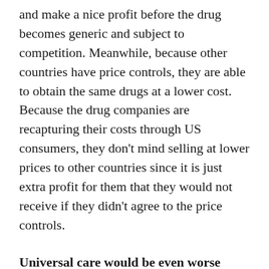and make a nice profit before the drug becomes generic and subject to competition. Meanwhile, because other countries have price controls, they are able to obtain the same drugs at a lower cost. Because the drug companies are recapturing their costs through US consumers, they don't mind selling at lower prices to other countries since it is just extra profit for them that they would not receive if they didn't agree to the price controls.
Universal care would be even worse
Unhappy with the existing socialized medical